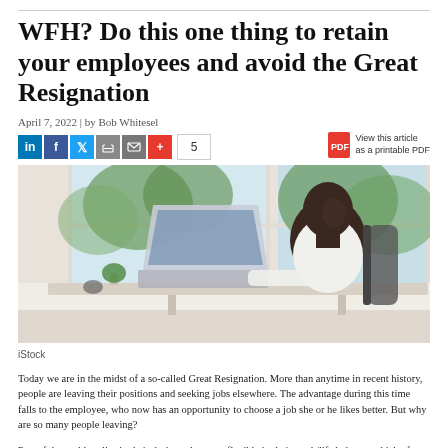WFH? Do this one thing to retain your employees and avoid the Great Resignation
April 7, 2022 | by Bob Whitesel
[Figure (photo): Man in white shirt sitting at a desk working on a laptop near a bright window with greenery outside]
iStock
Today we are in the midst of a so-called Great Resignation. More than anytime in recent history, people are leaving their positions and seeking jobs elsewhere. The advantage during this time falls to the employee, who now has an opportunity to choose a job she or he likes better. But why are so many people leaving?
Part of the problem lies in their desire to be more flexible in their work/life balance, which often includes